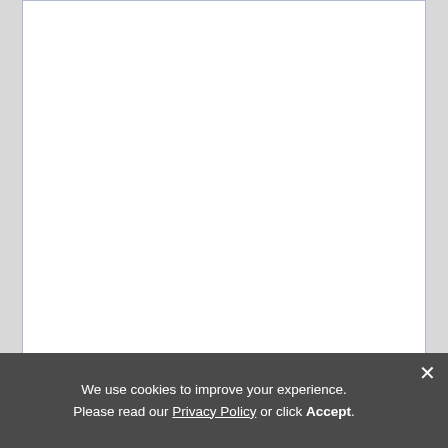[Figure (screenshot): Google Calendar embedded widget showing a blank white calendar area with a light blue-gray border]
Events shown in time zone: Central Time - Chicago
[Figure (logo): + Google Calendar button with blue plus icon and Google-colored text]
We use cookies to improve your experience. Please read our Privacy Policy or click Accept.
×